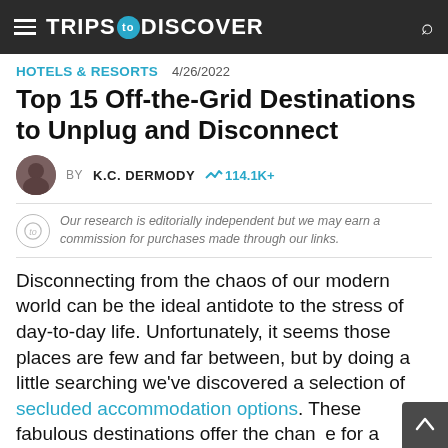TRIPS TO DISCOVER
HOTELS & RESORTS   4/26/2022
Top 15 Off-the-Grid Destinations to Unplug and Disconnect
BY K.C. DERMODY  114.1K+
Our research is editorially independent but we may earn a commission for purchases made through our links.
Disconnecting from the chaos of our modern world can be the ideal antidote to the stress of day-to-day life. Unfortunately, it seems those places are few and far between, but by doing a little searching we've discovered a selection of secluded accommodation options. These fabulous destinations offer the chance for a digital detox by unplugging and giving the brain a